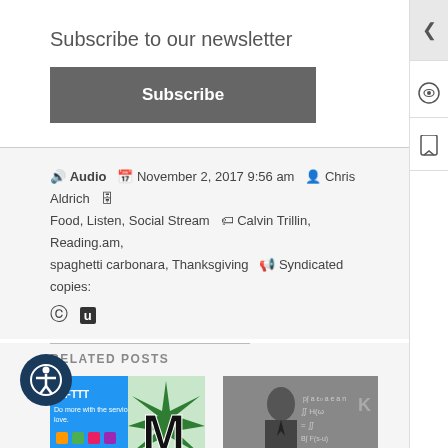Subscribe to our newsletter
Subscribe
Audio  November 2, 2017 9:56 am  Chris Aldrich  Food, Listen, Social Stream  Calvin Trillin, Reading.am, spaghetti carbonara, Thanksgiving  Syndicated copies:
RELATED POSTS
[Figure (photo): IFTTT and Medium logo composite image for a related post]
Using IFTTT to syndicate (PESOS) content from
[Figure (photo): Black and white photo of a man in front of a chalkboard with equations for RSS Feeds on BoffoSocko.com]
RSS Feeds on BoffoSocko.com